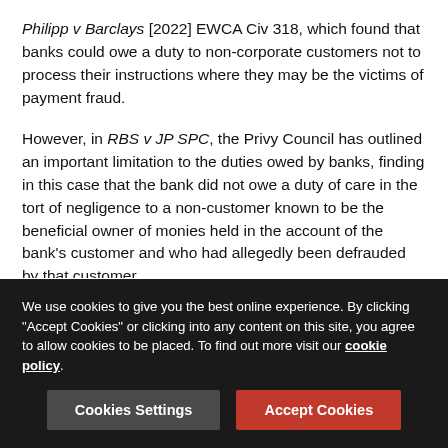Philipp v Barclays [2022] EWCA Civ 318, which found that banks could owe a duty to non-corporate customers not to process their instructions where they may be the victims of payment fraud.
However, in RBS v JP SPC, the Privy Council has outlined an important limitation to the duties owed by banks, finding in this case that the bank did not owe a duty of care in the tort of negligence to a non-customer known to be the beneficial owner of monies held in the account of the bank's customer and who had allegedly been defrauded by that customer.
JP SPC 4 is a fund that established an investment scheme involving the provision of loans, which were managed by the bank's customer, a company based in the Isle of Man. The fund alleges its funds were fraudulently paid out of the loan manager's accounts, rather than being used for the purpose of
We use cookies to give you the best online experience. By clicking "Accept Cookies" or clicking into any content on this site, you agree to allow cookies to be placed. To find out more visit our cookie policy.